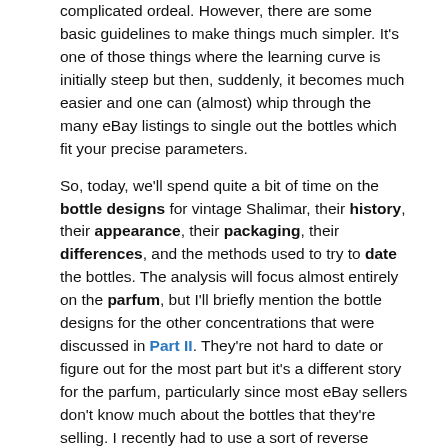complicated ordeal. However, there are some basic guidelines to make things much simpler. It's one of those things where the learning curve is initially steep but then, suddenly, it becomes much easier and one can (almost) whip through the many eBay listings to single out the bottles which fit your precise parameters.
So, today, we'll spend quite a bit of time on the bottle designs for vintage Shalimar, their history, their appearance, their packaging, their differences, and the methods used to try to date the bottles. The analysis will focus almost entirely on the parfum, but I'll briefly mention the bottle designs for the other concentrations that were discussed in Part II. They're not hard to date or figure out for the most part but it's a different story for the parfum, particularly since most eBay sellers don't know much about the bottles that they're selling. I recently had to use a sort of reverse engineering or backwards analysis based on nothing more than the height dimensions (inches) of a listed bottle in order to figure out its size and possible date of release. And I'm still not sure of the latter!